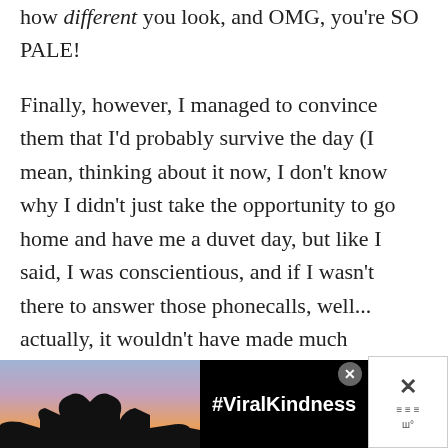how different you look, and OMG, you're SO PALE!
Finally, however, I managed to convince them that I'd probably survive the day (I mean, thinking about it now, I don't know why I didn't just take the opportunity to go home and have me a duvet day, but like I said, I was conscientious, and if I wasn't there to answer those phonecalls, well... actually, it wouldn't have made much difference, really, but
[Figure (photo): Advertisement banner at bottom showing hands making a heart shape against a sunset sky, with #ViralKindness text, close button, and a side widget with X and menu icons]